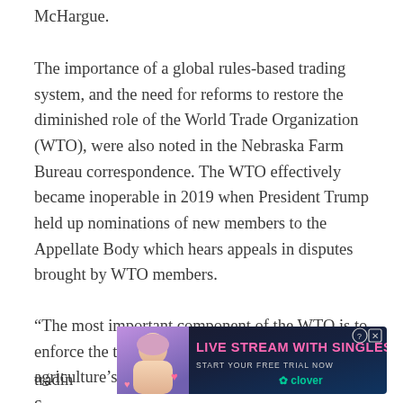McHargue.
The importance of a global rules-based trading system, and the need for reforms to restore the diminished role of the World Trade Organization (WTO), were also noted in the Nebraska Farm Bureau correspondence. The WTO effectively became inoperable in 2019 when President Trump held up nominations of new members to the Appellate Body which hears appeals in disputes brought by WTO members.
“The most important component of the WTO is to enforce the trade rules that are in place. Given agriculture’s reliance on international trade and the c[ontinued importance of international] tradin[g system...]
[Figure (other): Advertisement banner: 'LIVE STREAM WITH SINGLES' with clover branding and START YOUR FREE TRIAL NOW call to action, featuring a person image on the left side, pink/purple gradient background, with close and help icons top right.]